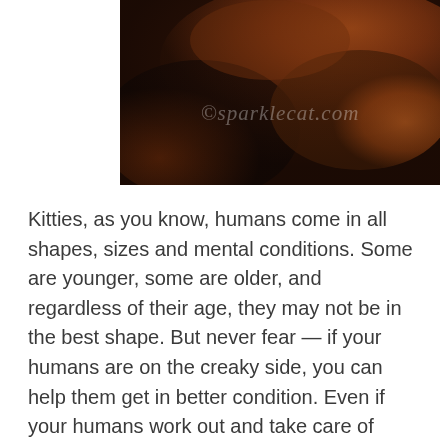[Figure (photo): Close-up photo of a reddish-brown fluffy cat, with a watermark reading ©sparklecat.com overlaid on the image]
Kitties, as you know, humans come in all shapes, sizes and mental conditions. Some are younger, some are older, and regardless of their age, they may not be in the best shape. But never fear — if your humans are on the creaky side, you can help them get in better condition. Even if your humans work out and take care of themselves, there is always room for improvement! I have a few simple tests you can give your human that will